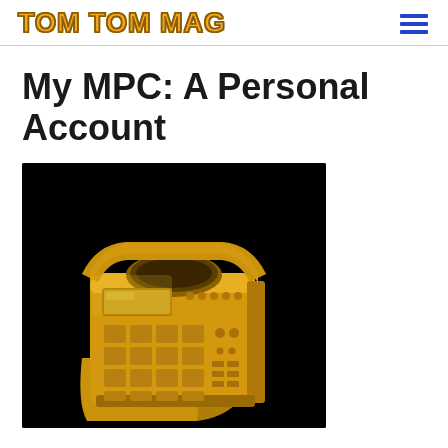TOM TOM MAG
My MPC: A Personal Account
[Figure (photo): Gold ring shaped like an MPC drum machine/sampler, on a black background. The ring is cast in shiny gold metal and features the iconic MPC layout with pads arranged in a grid, knobs, and a display screen on the front face.]